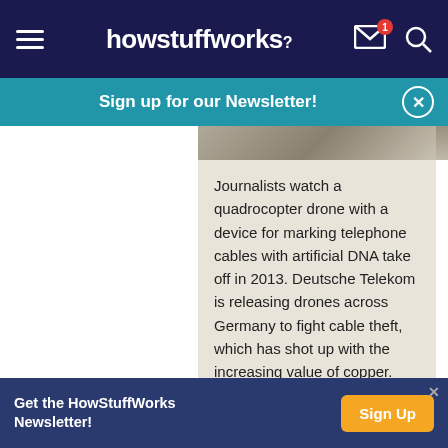howstuffworks
Sign up for our Newsletter!
[Figure (photo): Partial aerial/drone photo strip at top]
Journalists watch a quadrocopter drone with a device for marking telephone cables with artificial DNA take off in 2013. Deutsche Telekom is releasing drones across Germany to fight cable theft, which has shot up with the increasing value of copper. SEAN GALLUP/GETTY IMAGES
A CIA operator in Virginia can fly a near-silent Predator drone through the night sky of Pakistan,
Get the HowStuffWorks Newsletter! Sign Up